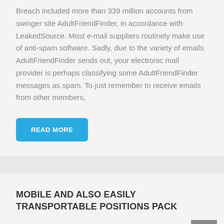Breach included more than 339 million accounts from swinger site AdultFriendFinder, in accordance with LeakedSource. Most e-mail suppliers routinely make use of anti-spam software. Sadly, due to the variety of emails AdultFriendFinder sends out, your electronic mail provider is perhaps classifying some AdultFriendFinder messages as spam. To just remember to receive emails from other members,
READ MORE
MOBILE AND ALSO EASILY TRANSPORTABLE POSITIONS PACK
OCTOBER 13, 2020 | Alisha Transport | Uncategorized |